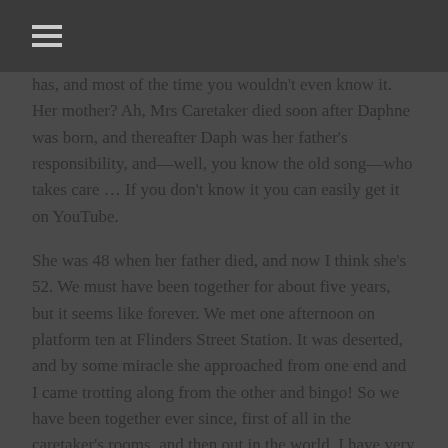≡
has, and most of the time you wouldn't even know it. Her mother? Ah, Mrs Caretaker died soon after Daphne was born, and thereafter Daph was her father's responsibility, and—well, you know the old song—who takes care … If you don't know it you can easily get it on YouTube.
She was 48 when her father died, and now I think she's 52. We must have been together for about five years, but it seems like forever. We met one afternoon on platform ten at Flinders Street Station. It was deserted, and by some miracle she approached from one end and I came trotting along from the other and bingo! So we have been together ever since, first of all in the caretaker's rooms, and then out in the world. I have very little memory of my life before Daph, and what I do recall I try to forget. Let's just say I'm a Stray. Daph called me Waffie. She imagines we have a guardian angel, but I